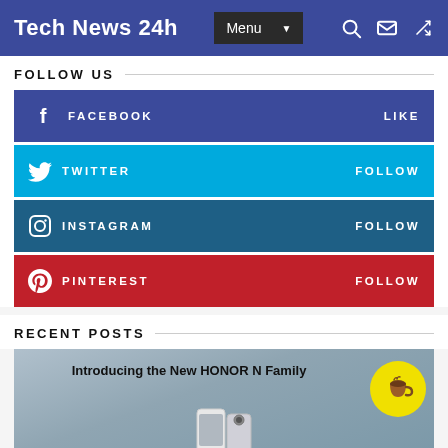Tech News 24h  Menu
FOLLOW US
FACEBOOK  LIKE
TWITTER  FOLLOW
INSTAGRAM  FOLLOW
PINTEREST  FOLLOW
RECENT POSTS
[Figure (photo): Blog post thumbnail with text overlay: Introducing the New HONOR N Family, showing a partially visible phone device on grey-blue background. Yellow coffee cup button in lower right corner.]